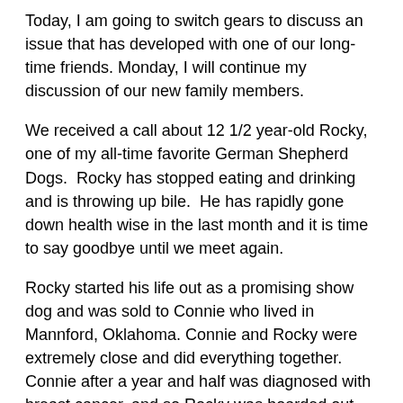Today, I am going to switch gears to discuss an issue that has developed with one of our long-time friends. Monday, I will continue my discussion of our new family members.
We received a call about 12 1/2 year-old Rocky, one of my all-time favorite German Shepherd Dogs. Rocky has stopped eating and drinking and is throwing up bile. He has rapidly gone down health wise in the last month and it is time to say goodbye until we meet again.
Rocky started his life out as a promising show dog and was sold to Connie who lived in Mannford, Oklahoma. Connie and Rocky were extremely close and did everything together. Connie after a year and half was diagnosed with breast cancer, and so Rocky was boarded out here at Keystone German Shepherds & Kennels while Connie was going through treatment and too sick to take care of Rocky. We got to become very close to Rocky. Connie lost her battle to cancer, but her love and